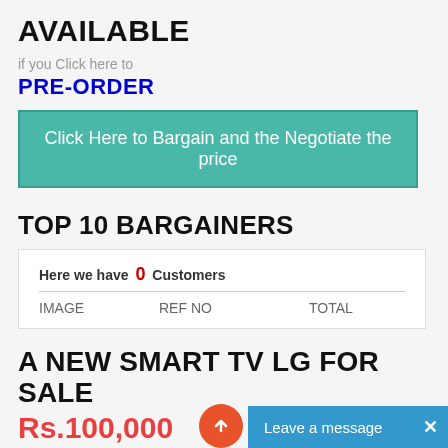AVAILABLE
if you Click here to
PRE-ORDER
Click Here to Bargain and the Negotiate the price
TOP 10 BARGAINERS
| IMAGE | REF NO | TOTAL |
| --- | --- | --- |
A NEW SMART TV LG FOR SALE
Rs.100,000
Leave a message